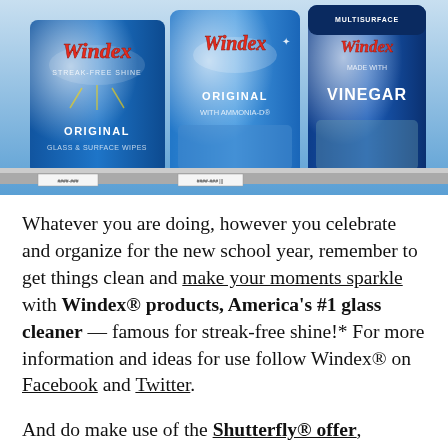[Figure (photo): Shelf display of three Windex product bottles: Original (glass & surface wipes), Original with Ammonia-D, and Multisurface with Vinegar, all with blue labels and the Windex logo in red script.]
Whatever you are doing, however you celebrate and organize for the new school year, remember to get things clean and make your moments sparkle with Windex® products, America's #1 glass cleaner — famous for streak-free shine!* For more information and ideas for use follow Windex® on Facebook and Twitter.
And do make use of the Shutterfly® offer, generations of your family will thank you.